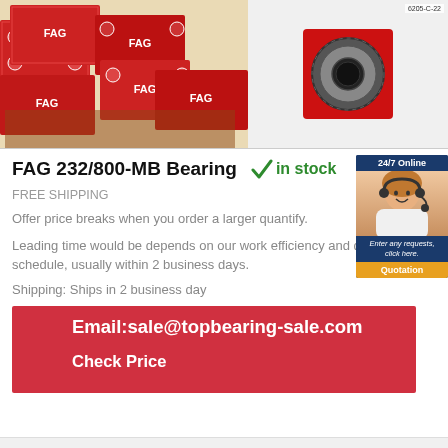[Figure (photo): Left: stacked red FAG bearing boxes in warehouse. Right: FAG 6205-C-22 bearing ring on red packaging background.]
FAG 232/800-MB Bearing
✓in stock
FREE SHIPPING
Offer price breaks when you order a larger quantify.
Leading time would be depends on our work efficiency and delivery schedule, usually within 2 business days.
Shipping: Ships in 2 business day
Email:sale@topbearing-sale.com
Check Price
[Figure (photo): 24/7 Online customer service representative with headset, with Quotation button.]